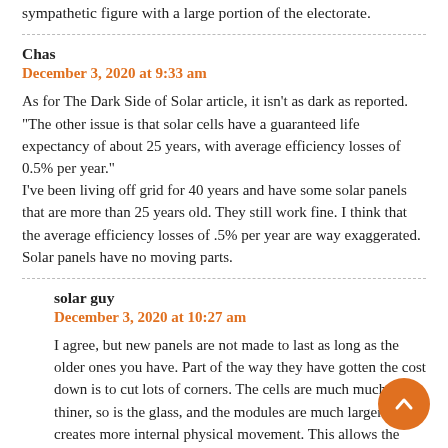sympathetic figure with a large portion of the electorate.
Chas
December 3, 2020 at 9:33 am
As for The Dark Side of Solar article, it isn't as dark as reported.
“The other issue is that solar cells have a guaranteed life expectancy of about 25 years, with average efficiency losses of 0.5% per year.”
I've been living off grid for 40 years and have some solar panels that are more than 25 years old. They still work fine. I think that the average efficiency losses of .5% per year are way exaggerated. Solar panels have no moving parts.
solar guy
December 3, 2020 at 10:27 am
I agree, but new panels are not made to last as long as the older ones you have. Part of the way they have gotten the cost down is to cut lots of corners. The cells are much much thiner, so is the glass, and the modules are much larger which creates more internal physical movement. This allows the thermal expansion/contraction which does